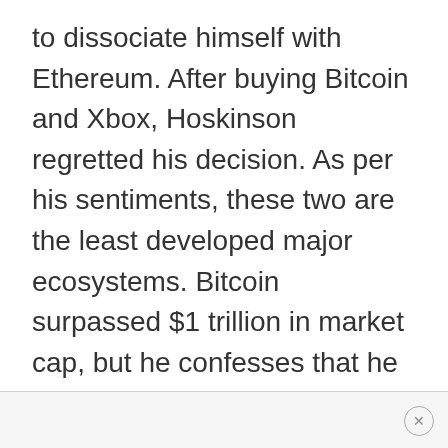to dissociate himself with Ethereum. After buying Bitcoin and Xbox, Hoskinson regretted his decision. As per his sentiments, these two are the least developed major ecosystems. Bitcoin surpassed $1 trillion in market cap, but he confesses that he doesn't want to develop tokens in Bitcoin's network.
×